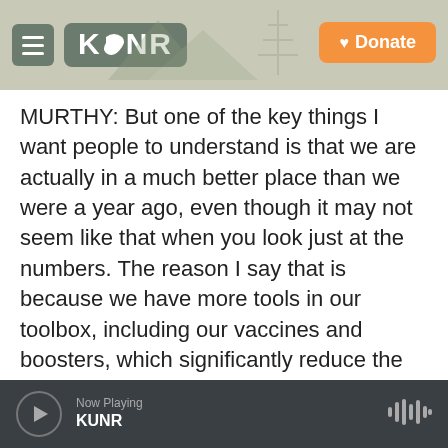KUNR — Donate
MURTHY: But one of the key things I want people to understand is that we are actually in a much better place than we were a year ago, even though it may not seem like that when you look just at the numbers. The reason I say that is because we have more tools in our toolbox, including our vaccines and boosters, which significantly reduce the chances that you will end up in the hospital or lose your life. Those are the most important outcomes that we care about.

And finally, with testing, which you mentioned, we
Now Playing KUNR